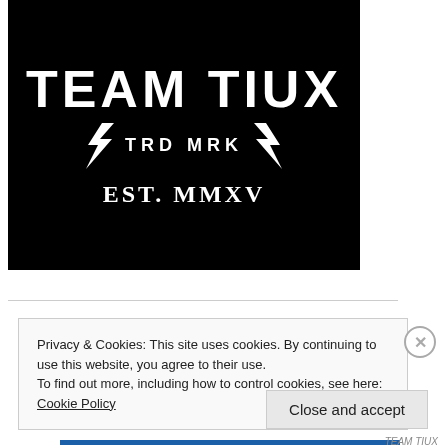[Figure (logo): Team Tiux logo on black background. Large white bold text 'TEAM TIUX' at top, below it two lightning bolt symbols flanking text 'TRD MRK', and below that 'EST. MMXV' in serif style.]
Privacy & Cookies: This site uses cookies. By continuing to use this website, you agree to their use.
To find out more, including how to control cookies, see here: Cookie Policy
Close and accept